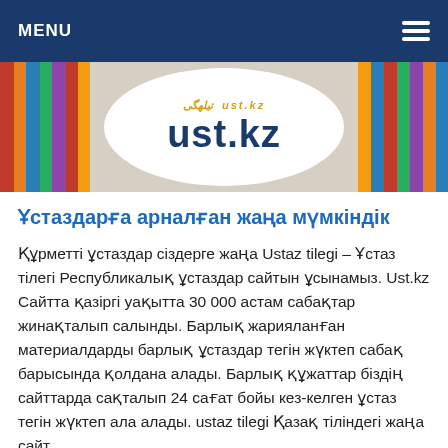MENU
[Figure (logo): Ustaz tilegi / ust.kz logo — circular white logo with Kazakh script and 'ust.kz' text in dark blue, on a colorful books background]
Ұстаздарға арналған жаңа мүмкіндік
Құрметті ұстаздар сіздерге жаңа Ustaz tilegi – Ұстаз тілегі Республикалық ұстаздар сайтын ұсынамыз. Ust.kz Сайтта қазіргі уақытта 30 000 астам сабақтар жинақталып салынды. Барлық жарияланған материалдарды барлық ұстаздар тегін жүктеп сабақ барысында қолдана алады. Барлық құжаттар біздің сайттарда сақталып 24 сағат бойы кез-келген ұстаз тегін жүктеп ала алады. ustaz tilegi Қазақ тіліндегі жаңа сайт.